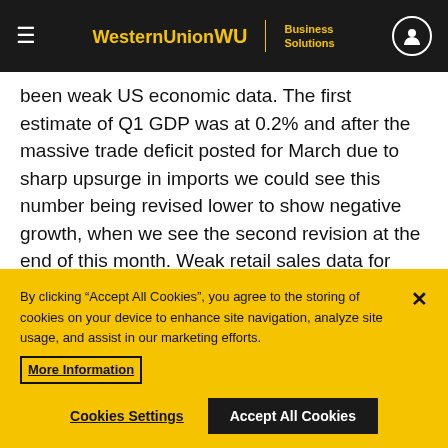WesternUnion WU | Business Solutions
been weak US economic data. The first estimate of Q1 GDP was at 0.2% and after the massive trade deficit posted for March due to sharp upsurge in imports we could see this number being revised lower to show negative growth, when we see the second revision at the end of this month. Weak retail sales data for April does not bode well for Q2 GDP also and the large contribution that inventory build up had in the first estimate of Q1 GDP means that in Q2 we could see some this inventory buildup drawn down resulting in lower growth. The strength of the US Dollar is importing deflation into the
By clicking “Accept All Cookies”, you agree to the storing of cookies on your device to enhance site navigation, analyze site usage, and assist in our marketing efforts. More Information